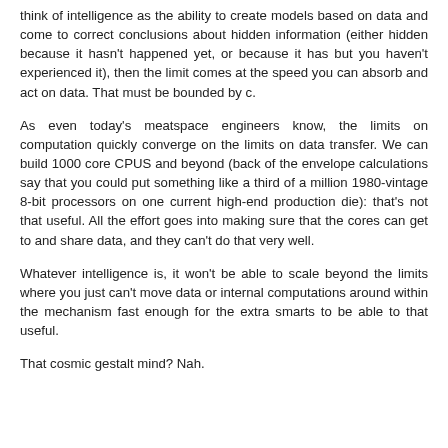think of intelligence as the ability to create models based on data and come to correct conclusions about hidden information (either hidden because it hasn't happened yet, or because it has but you haven't experienced it), then the limit comes at the speed you can absorb and act on data. That must be bounded by c.
As even today's meatspace engineers know, the limits on computation quickly converge on the limits on data transfer. We can build 1000 core CPUS and beyond (back of the envelope calculations say that you could put something like a third of a million 1980-vintage 8-bit processors on one current high-end production die): that's not that useful. All the effort goes into making sure that the cores can get to and share data, and they can't do that very well.
Whatever intelligence is, it won't be able to scale beyond the limits where you just can't move data or internal computations around within the mechanism fast enough for the extra smarts to be able to that useful.
That cosmic gestalt mind? Nah.